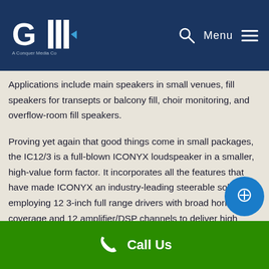GIW (logo) — Menu navigation header
Applications include main speakers in small venues, fill speakers for transepts or balcony fill, choir monitoring, and overflow-room fill speakers.
Proving yet again that good things come in small packages, the IC12/3 is a full-blown ICONYX loudspeaker in a smaller, high-value form factor. It incorporates all the features that have made ICONYX an industry-leading steerable solution, employing 12 3-inch full range drivers with broad horizontal coverage and 12 amplifier/DSP channels to deliver high granularity for maximum
Call Us